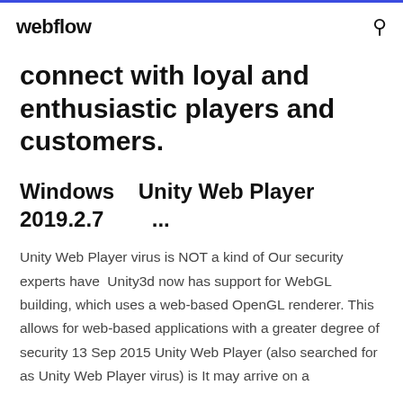webflow
connect with loyal and enthusiastic players and customers.
Windows   Unity Web Player 2019.2.7        ...
Unity Web Player virus is NOT a kind of Our security experts have  Unity3d now has support for WebGL building, which uses a web-based OpenGL renderer. This allows for web-based applications with a greater degree of security 13 Sep 2015 Unity Web Player (also searched for as Unity Web Player virus) is It may arrive on a